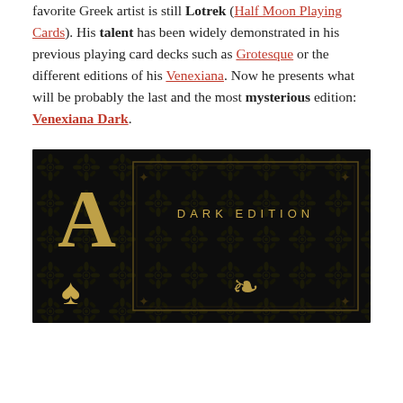favorite Greek artist is still Lotrek (Half Moon Playing Cards). His talent has been widely demonstrated in his previous playing card decks such as Grotesque or the different editions of his Venexiana. Now he presents what will be probably the last and the most mysterious edition: Venexiana Dark.
[Figure (photo): Dark playing card deck image showing a Ace of Spades card with gold ornamentation on a black damask-patterned background. Text reads 'DARK EDITION' in gold spaced lettering.]